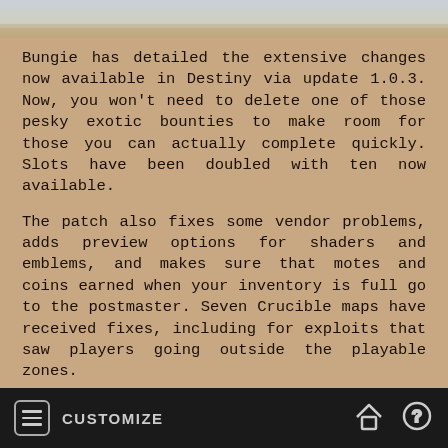[Figure (photo): Top banner image showing a sandy/rocky outdoor scene with sky]
Bungie has detailed the extensive changes now available in Destiny via update 1.0.3. Now, you won't need to delete one of those pesky exotic bounties to make room for those you can actually complete quickly. Slots have been doubled with ten now available.
The patch also fixes some vendor problems, adds preview options for shaders and emblems, and makes sure that motes and coins earned when your inventory is full go to the postmaster. Seven Crucible maps have received fixes, including for exploits that saw players going outside the playable zones.
The HUD got a few bits of polish, namely improvements to readability on recharge timers and (finally) explanations of the skulls in the navigation mode screen. The biggest change to the game comes in the form of a new audio chat channel.
CUSTOMIZE